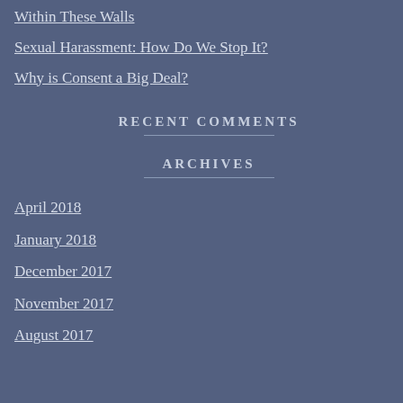Within These Walls
Sexual Harassment: How Do We Stop It?
Why is Consent a Big Deal?
RECENT COMMENTS
ARCHIVES
April 2018
January 2018
December 2017
November 2017
August 2017